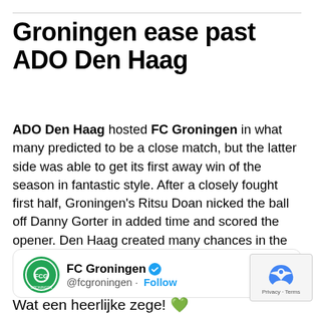Groningen ease past ADO Den Haag
ADO Den Haag hosted FC Groningen in what many predicted to be a close match, but the latter side was able to get its first away win of the season in fantastic style. After a closely fought first half, Groningen's Ritsu Doan nicked the ball off Danny Gorter in added time and scored the opener. Den Haag created many chances in the second half, but Groningen's Sergio Padt made six saves (7 total).
[Figure (screenshot): Embedded tweet from FC Groningen (@fcgroningen) with Follow button and partial tweet text 'Wat een heerlijke zege!' and green heart emoji]